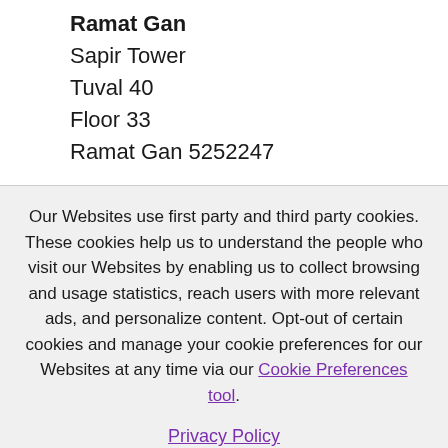Ramat Gan
Sapir Tower
Tuval 40
Floor 33
Ramat Gan 5252247
Our Websites use first party and third party cookies. These cookies help us to understand the people who visit our Websites by enabling us to collect browsing and usage statistics, reach users with more relevant ads, and personalize content. Opt-out of certain cookies and manage your cookie preferences for our Websites at any time via our Cookie Preferences tool.
Privacy Policy
OK